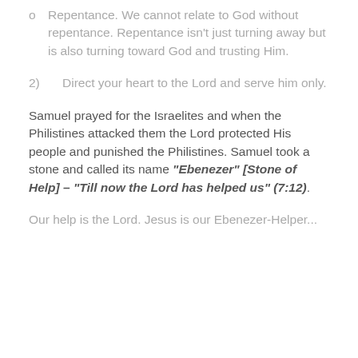o   Repentance. We cannot relate to God without repentance. Repentance isn't just turning away but is also turning toward God and trusting Him.
2)    Direct your heart to the Lord and serve him only.
Samuel prayed for the Israelites and when the Philistines attacked them the Lord protected His people and punished the Philistines. Samuel took a stone and called its name "Ebenezer" [Stone of Help] – "Till now the Lord has helped us" (7:12).
Our help is the Lord. Jesus is our Ebenezer-Helper...